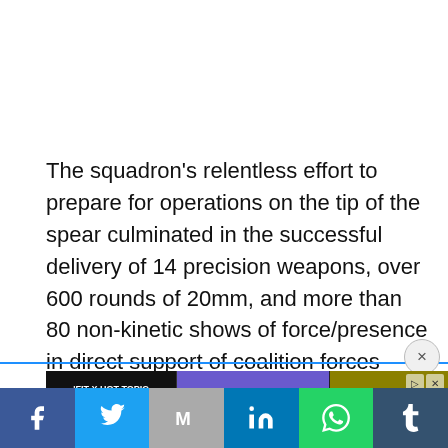The squadron’s relentless effort to prepare for operations on the tip of the spear culminated in the successful delivery of 14 precision weapons, over 600 rounds of 20mm, and more than 80 non-kinetic shows of force/presence in direct support of coalition forces fighting in Afghanistan.
[Figure (illustration): Advertisement banner for 'FIT x HOT TOPIC - SHOP NOW' showing three people in dark fashion clothing]
[Figure (other): Social media share bar with icons for Facebook, Twitter, Mail, LinkedIn, WhatsApp, and Tumblr]